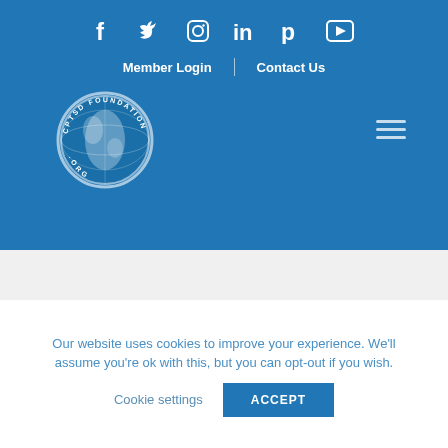Social media icons: Facebook, Twitter, Instagram, LinkedIn, Pinterest, YouTube
Member Login | Contact Us
[Figure (logo): CPTSDFOUNDATION.ORG circular logo with globe/world map in blue and white]
[Figure (photo): Black and white photo showing wooden planks/boards with an arch shape]
Our website uses cookies to improve your experience. We'll assume you're ok with this, but you can opt-out if you wish.
Cookie settings  ACCEPT